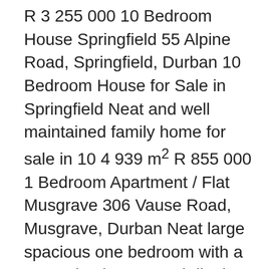R 3 255 000 10 Bedroom House Springfield 55 Alpine Road, Springfield, Durban 10 Bedroom House for Sale in Springfield Neat and well maintained family home for sale in 10 4 939 m² R 855 000 1 Bedroom Apartment / Flat Musgrave 306 Vause Road, Musgrave, Durban Neat large spacious one bedroom with a open plan lounge and dinning room with a separate 1 1 71 m² Affordable Used Japanese Cars,Trucks,and Mini-Buses In Durban South Africa: Sales/Marketing Reps With More Than 20 Dealerships Of Used Japanese Vehicles In Durban,Our Job Is To Take You Around Dealerships both in & out of Town.We pick You Up From The Airport Or Durban Station.You Compare Prices,You Compare Vehicles.Our Fee Is Just 350Rands 2 Bedroom Apartment / Flat for sale in Durban North 175 Station Ridge Road, Durban